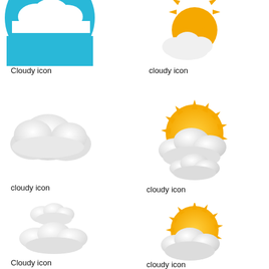[Figure (illustration): Cloudy icon with blue circle background, cloud on top, partial view (top cropped)]
Cloudy icon
[Figure (illustration): Cloudy icon: white cloud with sun behind (partial view, top cropped), grayscale/light style]
cloudy icon
[Figure (illustration): Cloudy icon: realistic white fluffy cloud illustration]
cloudy icon
[Figure (illustration): Cloudy icon: orange sun with white 3D cloud over it]
cloudy icon
[Figure (illustration): Cloudy icon: two small soft white cloud shapes stacked]
Cloudy icon
[Figure (illustration): Cloudy icon: orange sun with white 3D cloud in front]
cloudy icon